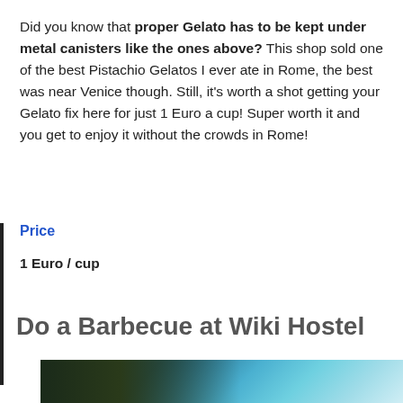Did you know that proper Gelato has to be kept under metal canisters like the ones above? This shop sold one of the best Pistachio Gelatos I ever ate in Rome, the best was near Venice though. Still, it’s worth a shot getting your Gelato fix here for just 1 Euro a cup! Super worth it and you get to enjoy it without the crowds in Rome!
Price
1 Euro / cup
Do a Barbecue at Wiki Hostel
[Figure (photo): Photo of a barbecue or food scene with blue-toned sparks/embers and dark background, partially visible at the bottom of the page]